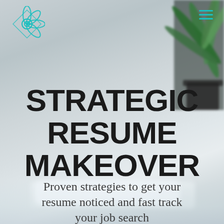[Figure (logo): Teal geometric mandala/flower logo in top-left corner]
[Figure (illustration): Hamburger menu icon (three teal horizontal lines) in top-right corner]
[Figure (photo): Background photo showing a blurred plant/greenery in top-right and a blurred desk surface with white object at bottom, on a light grey background]
STRATEGIC RESUME MAKEOVER
Proven strategies to get your resume noticed and fast track your job search